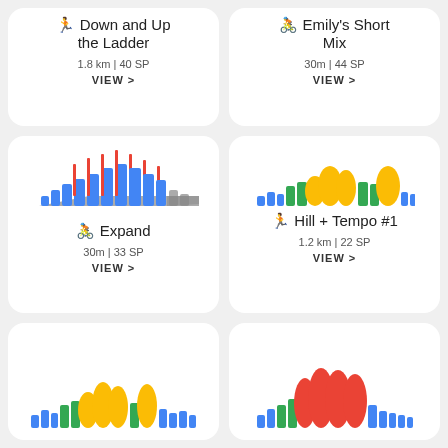[Figure (infographic): Workout card: running icon, Down and Up the Ladder, 1.8 km | 40 SP, VIEW >]
[Figure (infographic): Workout card: cycling icon, Emily's Short Mix, 30m | 44 SP, VIEW >]
[Figure (infographic): Workout card with bar chart visual: cycling icon, Expand, 30m | 33 SP, VIEW >]
[Figure (infographic): Workout card with bar chart visual: running icon, Hill + Tempo #1, 1.2 km | 22 SP, VIEW >]
[Figure (infographic): Workout card (partial, bottom): bar chart with blue, green, yellow bars]
[Figure (infographic): Workout card (partial, bottom): bar chart with blue, green, orange/red bars]